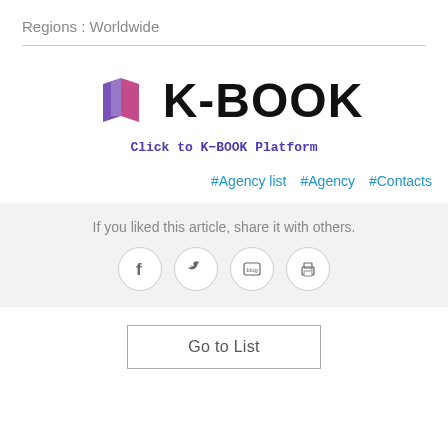Regions : Worldwide
[Figure (logo): K-BOOK logo with purple book icon and bold K-BOOK text, with 'Click to K-BOOK Platform' subtitle link]
#Agency list   #Agency   #Contacts
If you liked this article, share it with others.
[Figure (infographic): Social share icons: Facebook, Twitter, Blog, Print — each in a circle]
Go to List